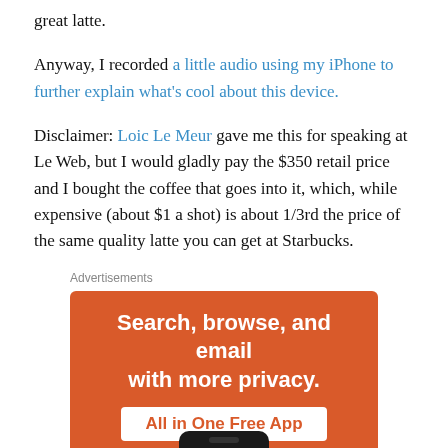great latte.
Anyway, I recorded a little audio using my iPhone to further explain what's cool about this device.
Disclaimer: Loic Le Meur gave me this for speaking at Le Web, but I would gladly pay the $350 retail price and I bought the coffee that goes into it, which, while expensive (about $1 a shot) is about 1/3rd the price of the same quality latte you can get at Starbucks.
Advertisements
[Figure (infographic): Orange advertisement banner reading 'Search, browse, and email with more privacy. All in One Free App' with a phone image at the bottom.]